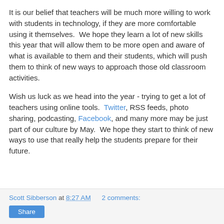It is our belief that teachers will be much more willing to work with students in technology, if they are more comfortable using it themselves.  We hope they learn a lot of new skills this year that will allow them to be more open and aware of what is available to them and their students, which will push them to think of new ways to approach those old classroom activities.
Wish us luck as we head into the year - trying to get a lot of teachers using online tools.  Twitter, RSS feeds, photo sharing, podcasting, Facebook, and many more may be just part of our culture by May.  We hope they start to think of new ways to use that really help the students prepare for their future.
Scott Sibberson at 8:27 AM    2 comments:   Share